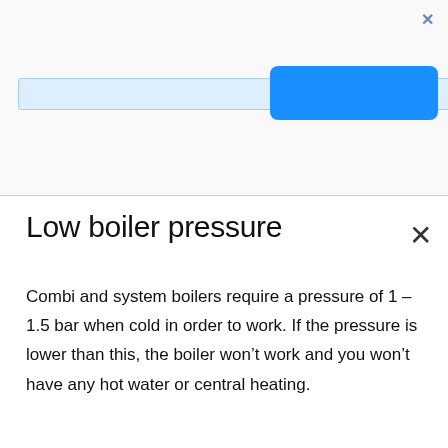[Figure (screenshot): Top browser UI bar with a light blue search/address bar, a blue button on the right, and an X close icon in the top-right corner]
Low boiler pressure
Combi and system boilers require a pressure of 1 – 1.5 bar when cold in order to work. If the pressure is lower than this, the boiler won't work and you won't have any hot water or central heating.